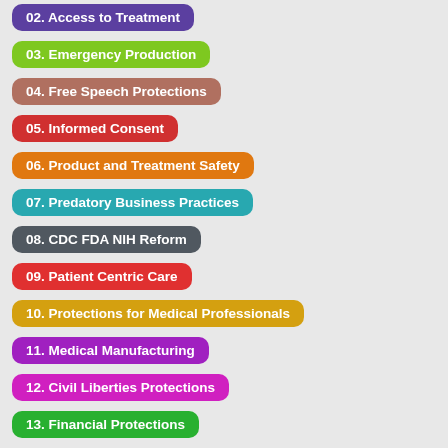02. Access to Treatment
03. Emergency Production
04. Free Speech Protections
05. Informed Consent
06. Product and Treatment Safety
07. Predatory Business Practices
08. CDC FDA NIH Reform
09. Patient Centric Care
10. Protections for Medical Professionals
11. Medical Manufacturing
12. Civil Liberties Protections
13. Financial Protections
14. Limits to Government Powers
15. Qualified Immunity
16. Protected Medical Class
17. Privacy Protections
18. Criminal Penalties
19. Medical Experiments and Research Protections